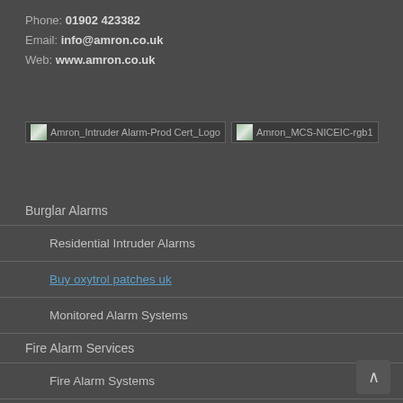Phone: 01902 423382
Email: info@amron.co.uk
Web: www.amron.co.uk
[Figure (logo): Two certification logos: Amron_Intruder Alarm-Prod Cert_Logo and Amron_MCS-NICEIC-rgb1]
Burglar Alarms
Residential Intruder Alarms
Buy oxytrol patches uk
Monitored Alarm Systems
Fire Alarm Services
Fire Alarm Systems
Fire Alarm Installation